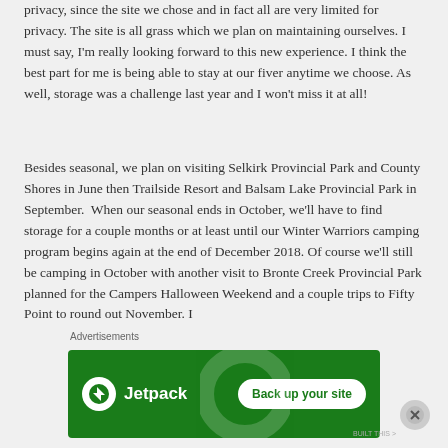privacy, since the site we chose and in fact all are very limited for privacy. The site is all grass which we plan on maintaining ourselves. I must say, I'm really looking forward to this new experience. I think the best part for me is being able to stay at our fiver anytime we choose. As well, storage was a challenge last year and I won't miss it at all!
Besides seasonal, we plan on visiting Selkirk Provincial Park and County Shores in June then Trailside Resort and Balsam Lake Provincial Park in September. When our seasonal ends in October, we'll have to find storage for a couple months or at least until our Winter Warriors camping program begins again at the end of December 2018. Of course we'll still be camping in October with another visit to Bronte Creek Provincial Park planned for the Campers Halloween Weekend and a couple trips to Fifty Point to round out November. I
Advertisements
[Figure (infographic): Jetpack advertisement banner with green background, Jetpack logo with lightning bolt icon, and 'Back up your site' button]